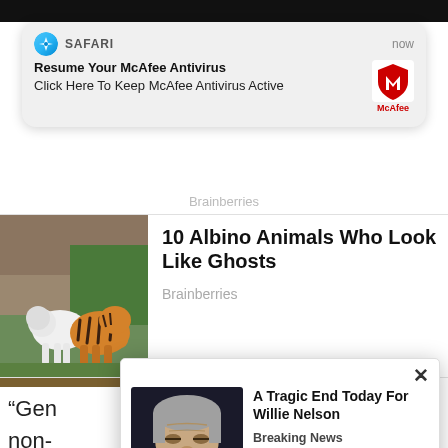[Figure (screenshot): Safari browser notification popup: 'Resume Your McAfee Antivirus - Click Here To Keep McAfee Antivirus Active', with McAfee logo, labeled 'now']
Brainberries
[Figure (photo): Photo of white lion and tiger in zoo setting]
10 Albino Animals Who Look Like Ghosts
Brainberries
[Figure (photo): Macro photo of tardigrades on moss]
What Makes Tardigrades So Special?
Brainberries
“Gen… non-… most…
[Figure (screenshot): Popup ad with photo of Willie Nelson and headline 'A Tragic End Today For Willie Nelson', source 'Breaking News']